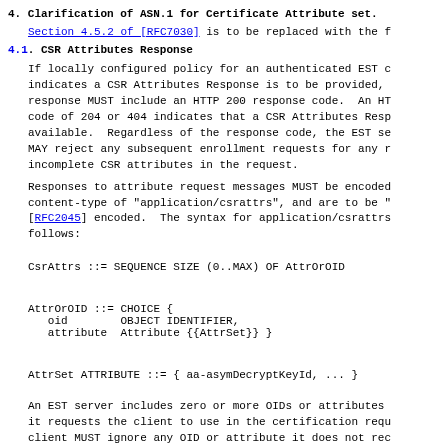4.  Clarification of ASN.1 for Certificate Attribute set.
Section 4.5.2 of [RFC7030] is to be replaced with the f
4.1.  CSR Attributes Response
If locally configured policy for an authenticated EST c indicates a CSR Attributes Response is to be provided, response MUST include an HTTP 200 response code.  An HT code of 204 or 404 indicates that a CSR Attributes Resp available.  Regardless of the response code, the EST se MAY reject any subsequent enrollment requests for any r incomplete CSR attributes in the request.
Responses to attribute request messages MUST be encoded content-type of "application/csrattrs", and are to be " [RFC2045] encoded.  The syntax for application/csrattrs follows:
An EST server includes zero or more OIDs or attributes it requests the client to use in the certification requ client MUST ignore any OID or attribute it does not rec the server encodes CSR Attributes as an empty SEQUENCE